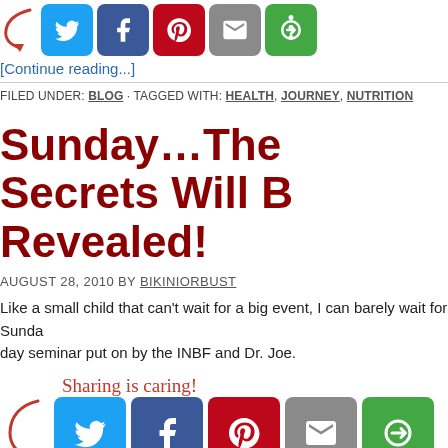[Figure (infographic): Social sharing buttons row (top): arrow icon, Twitter, Facebook, Pinterest, Email, More]
[Continue reading...]
FILED UNDER: BLOG · TAGGED WITH: HEALTH, JOURNEY, NUTRITION
Sunday…The Secrets Will Be Revealed!
AUGUST 28, 2010 BY BIKINIORBUST
Like a small child that can't wait for a big event, I can barely wait for Sunday. day seminar put on by the INBF and Dr. Joe.
[Figure (infographic): Sharing is caring! social sharing buttons row (bottom): arrow icon, Twitter, Facebook, Pinterest, Email, More]
[Continue reading...]
FILED UNDER: BLOG · TAGGED WITH: FITNESS, FOOD, MUSING, NUTRITION, TRA